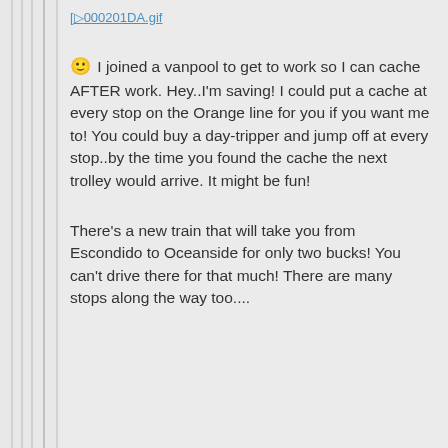[>000201DA.gif
🙂 I joined a vanpool to get to work so I can cache AFTER work. Hey..I'm saving! I could put a cache at every stop on the Orange line for you if you want me to! You could buy a day-tripper and jump off at every stop..by the time you found the cache the next trolley would arrive. It might be fun!
There's a new train that will take you from Escondido to Oceanside for only two bucks! You can't drive there for that much! There are many stops along the way too....